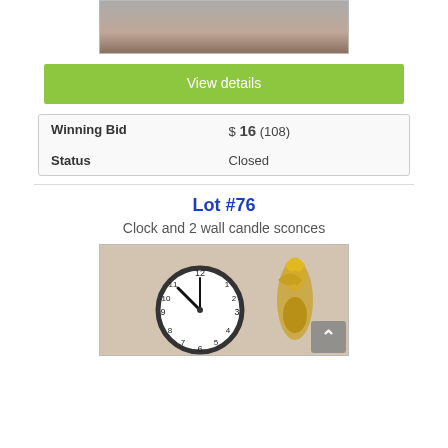[Figure (photo): Top portion of a silver decorative tray on a wooden surface]
View details
| Winning Bid | $ 16 (108) |
| Status | Closed |
Lot #76
Clock and 2 wall candle sconces
[Figure (photo): A round wall clock showing approximately 11:00 and a gold ornate wall candle sconce beside it]